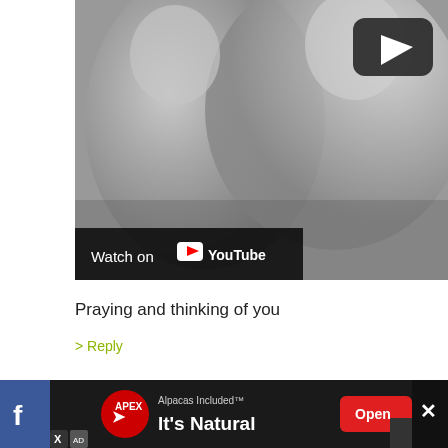[Figure (screenshot): YouTube video thumbnail showing two women in grayscale, one appears to be holding a baby, with a YouTube play button overlay and 'Watch on YouTube' bar at the bottom left]
Praying and thinking of you
> Reply
106  Michele says:
[Figure (screenshot): Mobile advertisement bar at bottom: Facebook icon on left, 'Alpacas Included™ It's Natural' ad with red logo and Open button, close X on right]